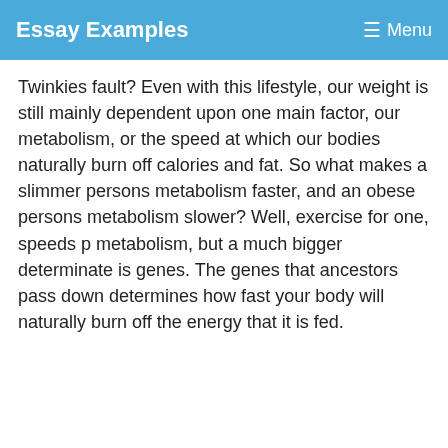Essay Examples  ≡ Menu
Twinkies fault? Even with this lifestyle, our weight is still mainly dependent upon one main factor, our metabolism, or the speed at which our bodies naturally burn off calories and fat. So what makes a slimmer persons metabolism faster, and an obese persons metabolism slower? Well, exercise for one, speeds p metabolism, but a much bigger determinate is genes. The genes that ancestors pass down determines how fast your body will naturally burn off the energy that it is fed.